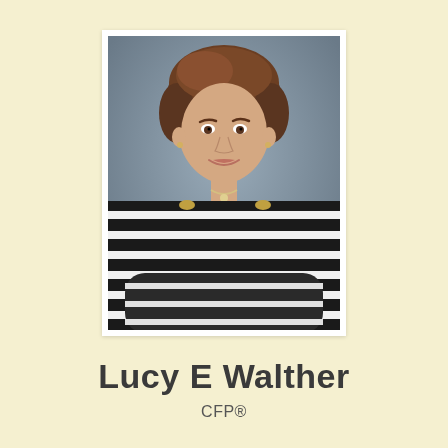[Figure (photo): Professional headshot of Lucy E Walther, a woman with short brown hair wearing a black and white striped top, smiling, with a gray background. Photo has a white border.]
Lucy E Walther
CFP®